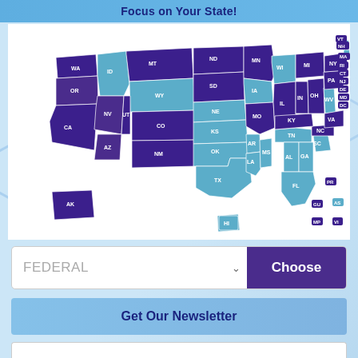Focus on Your State!
[Figure (map): Interactive choropleth map of the United States showing states colored in dark purple, medium purple, and teal/light blue, with state abbreviation labels. Includes Alaska, Hawaii, Puerto Rico, Guam, and other territories shown as insets. A dropdown selector with 'FEDERAL' is shown below the map with a 'Choose' button.]
FEDERAL
Choose
Get Our Newsletter